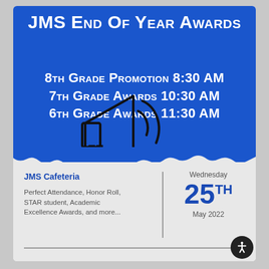JMS End of year Awards
8th Grade Promotion 8:30 AM
7th Grade Awards 10:30 AM
6th Grade Awards 11:30 AM
[Figure (illustration): Black outline drawing of a megaphone/bullhorn with sound waves]
JMS Cafeteria
Perfect Attendance, Honor Roll, STAR student, Academic Excellence Awards, and more...
Wednesday
25TH
May 2022